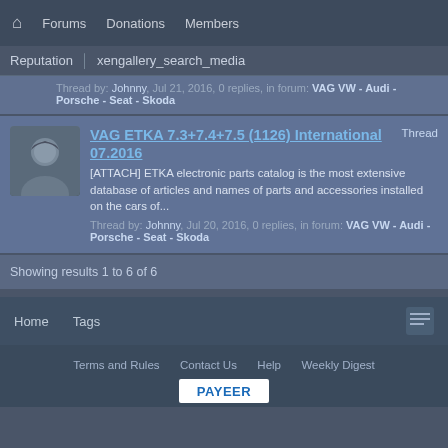🏠  Forums  Donations  Members
Reputation  xengallery_search_media
Thread by: Johnny, Jul 21, 2016, 0 replies, in forum: VAG VW - Audi - Porsche - Seat - Skoda
VAG ETKA 7.3+7.4+7.5 (1126) International 07.2016
[ATTACH] ETKA electronic parts catalog is the most extensive database of articles and names of parts and accessories installed on the cars of...
Thread by: Johnny, Jul 20, 2016, 0 replies, in forum: VAG VW - Audi - Porsche - Seat - Skoda
Showing results 1 to 6 of 6
Home  Tags
Terms and Rules  Contact Us  Help  Weekly Digest  PAYEER